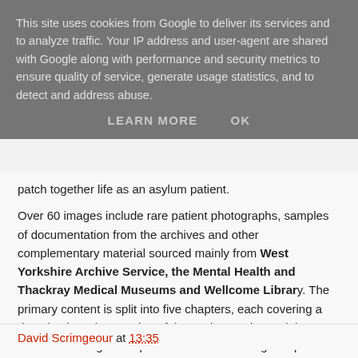This site uses cookies from Google to deliver its services and to analyze traffic. Your IP address and user-agent are shared with Google along with performance and security metrics to ensure quality of service, generate usage statistics, and to detect and address abuse.
LEARN MORE   OK
patch together life as an asylum patient.
Over 60 images include rare patient photographs, samples of documentation from the archives and other complementary material sourced mainly from West Yorkshire Archive Service, the Mental Health and Thackray Medical Museums and Wellcome Library. The primary content is split into five chapters, each covering a decade since the opening of the Asylum and containing material relating to the patients admitted during that period. A glossary of medical terms and treatments helps the reader to better understand the unfamiliar medication prescribed in the case notes.
David Scrimgeour at 13:35